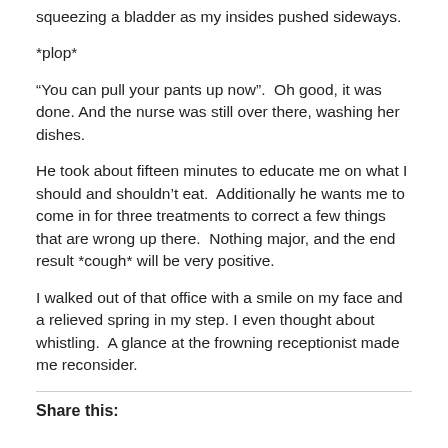squeezing a bladder as my insides pushed sideways.
*plop*
“You can pull your pants up now”.  Oh good, it was done.  And the nurse was still over there, washing her dishes.
He took about fifteen minutes to educate me on what I should and shouldn’t eat.  Additionally he wants me to come in for three treatments to correct a few things that are wrong up there.  Nothing major, and the end result *cough* will be very positive.
I walked out of that office with a smile on my face and a relieved spring in my step. I even thought about whistling.  A glance at the frowning receptionist made me reconsider.
Share this: